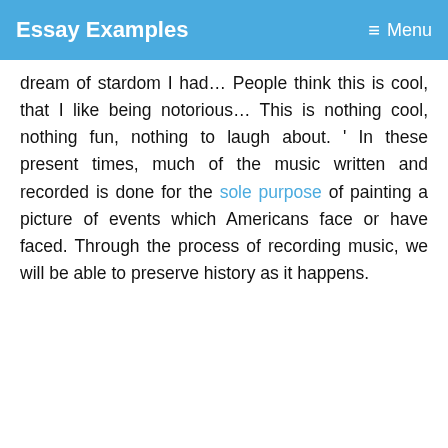Essay Examples  ☰ Menu
dream of stardom I had… People think this is cool, that I like being notorious… This is nothing cool, nothing fun, nothing to laugh about. ' In these present times, much of the music written and recorded is done for the sole purpose of painting a picture of events which Americans face or have faced. Through the process of recording music, we will be able to preserve history as it happens.